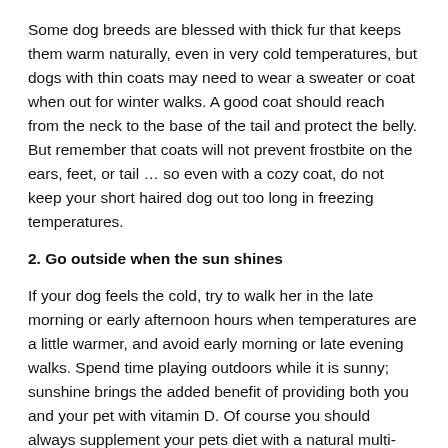Some dog breeds are blessed with thick fur that keeps them warm naturally, even in very cold temperatures, but dogs with thin coats may need to wear a sweater or coat when out for winter walks. A good coat should reach from the neck to the base of the tail and protect the belly. But remember that coats will not prevent frostbite on the ears, feet, or tail … so even with a cozy coat, do not keep your short haired dog out too long in freezing temperatures.
2. Go outside when the sun shines
If your dog feels the cold, try to walk her in the late morning or early afternoon hours when temperatures are a little warmer, and avoid early morning or late evening walks. Spend time playing outdoors while it is sunny; sunshine brings the added benefit of providing both you and your pet with vitamin D. Of course you should always supplement your pets diet with a natural multi-vitamin supplement and that goes for pups an adults! Play fetch